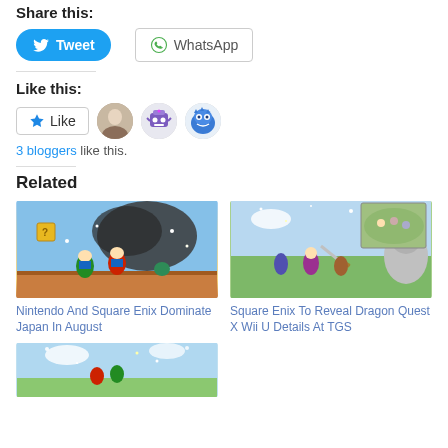Share this:
[Figure (other): Tweet button (Twitter/X blue rounded button) and WhatsApp button (outlined with WhatsApp icon)]
Like this:
[Figure (other): Like button with star icon, followed by three blogger avatar thumbnails]
3 bloggers like this.
Related
[Figure (illustration): Nintendo And Square Enix Dominate Japan In August - Mario characters running scene]
Nintendo And Square Enix Dominate Japan In August
[Figure (illustration): Square Enix To Reveal Dragon Quest X Wii U Details At TGS - Dragon Quest battle scene]
Square Enix To Reveal Dragon Quest X Wii U Details At TGS
[Figure (illustration): Partial third related article image at bottom of page]